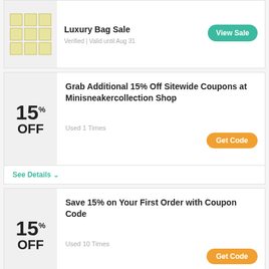[Figure (other): Partial coupon card showing a luxury bag image on left, 'Luxury Bag Sale' title, 'Verified | Valid until Aug 31' metadata, and a teal 'View Sale' button]
Luxury Bag Sale
Verified | Valid until Aug 31
Grab Additional 15% Off Sitewide Coupons at Minisneakercollection Shop
Used 1 Times
See Details
Save 15% on Your First Order with Coupon Code
Used 10 Times
See Details